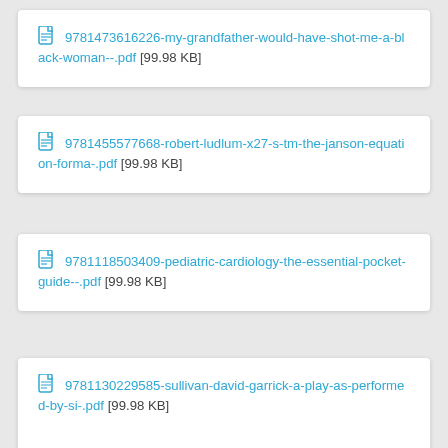9781473616226-my-grandfather-would-have-shot-me-a-black-woman--.pdf [99.98 KB]
9781455577668-robert-ludlum-x27-s-tm-the-janson-equation-forma-.pdf [99.98 KB]
9781118503409-pediatric-cardiology-the-essential-pocket-guide--.pdf [99.98 KB]
9781130229585-sullivan-david-garrick-a-play-as-performed-by-si-.pdf [99.98 KB]